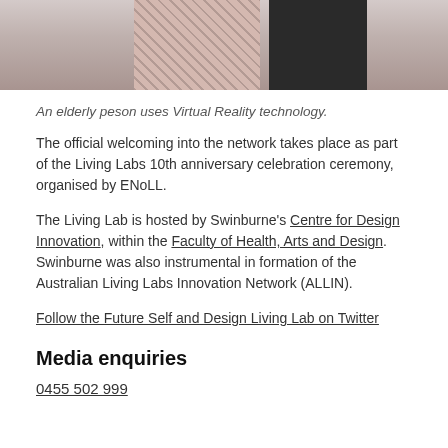[Figure (photo): Cropped photo showing two people, one wearing a floral patterned top and another in dark clothing, likely demonstrating Virtual Reality technology.]
An elderly peson uses Virtual Reality technology.
The official welcoming into the network takes place as part of the Living Labs 10th anniversary celebration ceremony, organised by ENoLL.
The Living Lab is hosted by Swinburne's Centre for Design Innovation, within the Faculty of Health, Arts and Design. Swinburne was also instrumental in formation of the Australian Living Labs Innovation Network (ALLIN).
Follow the Future Self and Design Living Lab on Twitter
Media enquiries
0455 502 999